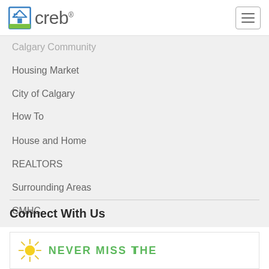creb®
Calgary Community
Housing Market
City of Calgary
How To
House and Home
REALTORS
Surrounding Areas
CMHC
Connect With Us
[Figure (logo): CREB newsletter signup banner with sun icon and 'NEVER MISS THE' text in green]